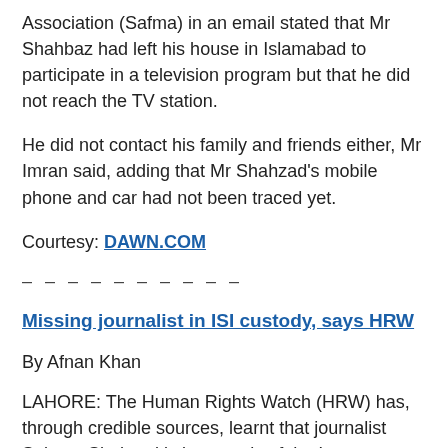Association (Safma) in an email stated that Mr Shahbaz had left his house in Islamabad to participate in a television program but that he did not reach the TV station.
He did not contact his family and friends either, Mr Imran said, adding that Mr Shahzad’s mobile phone and car had not been traced yet.
Courtesy: DAWN.COM
- - - - - - - - - -
Missing journalist in ISI custody, says HRW
By Afnan Khan
LAHORE: The Human Rights Watch (HRW) has, through credible sources, learnt that journalist Saleem Shahzad is in custody of the Inter-Services Intelligence (ISI). HRW’s Pakistan